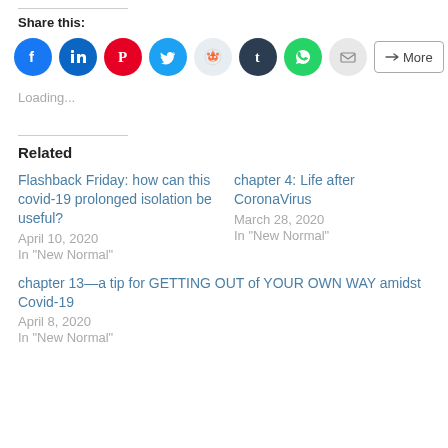Share this:
[Figure (other): Social sharing icons: Facebook, LinkedIn, Pinterest, Twitter, Reddit, Tumblr, WhatsApp, Email, and a More button]
Loading...
Related
Flashback Friday: how can this covid-19 prolonged isolation be useful?
April 10, 2020
In "New Normal"
chapter 4: Life after CoronaVirus
March 28, 2020
In "New Normal"
chapter 13—a tip for GETTING OUT of YOUR OWN WAY amidst Covid-19
April 8, 2020
In "New Normal"